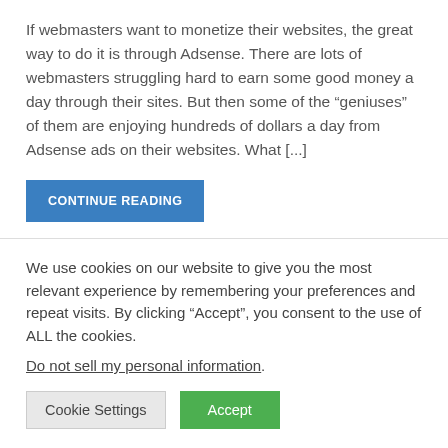If webmasters want to monetize their websites, the great way to do it is through Adsense. There are lots of webmasters struggling hard to earn some good money a day through their sites. But then some of the “geniuses” of them are enjoying hundreds of dollars a day from Adsense ads on their websites. What [...]
CONTINUE READING
We use cookies on our website to give you the most relevant experience by remembering your preferences and repeat visits. By clicking “Accept”, you consent to the use of ALL the cookies.
Do not sell my personal information.
Cookie Settings
Accept